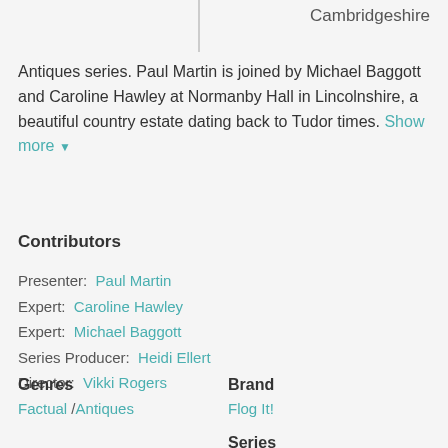Cambridgeshire
Antiques series. Paul Martin is joined by Michael Baggott and Caroline Hawley at Normanby Hall in Lincolnshire, a beautiful country estate dating back to Tudor times. Show more ▼
Contributors
Presenter: Paul Martin
Expert: Caroline Hawley
Expert: Michael Baggott
Series Producer: Heidi Ellert
Director: Vikki Rogers
Genres
Factual / Antiques
Brand
Flog It!
Series
Flog It!: Series 11